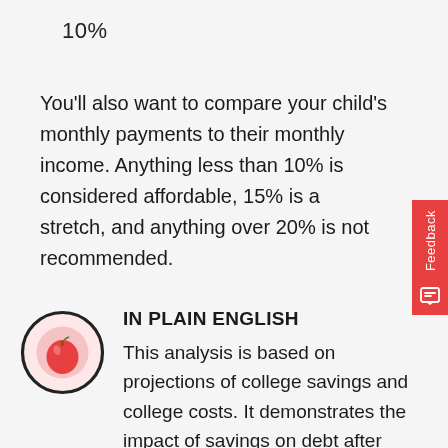10%
You'll also want to compare your child's monthly payments to their monthly income. Anything less than 10% is considered affordable, 15% is a stretch, and anything over 20% is not recommended.
IN PLAIN ENGLISH
This analysis is based on projections of college savings and college costs. It demonstrates the impact of savings on debt after graduation. The more you